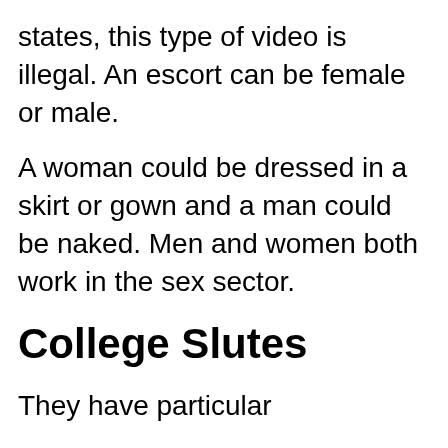states, this type of video is illegal. An escort can be female or male.
A woman could be dressed in a skirt or gown and a man could be naked. Men and women both work in the sex sector.
College Slutes
They have particular